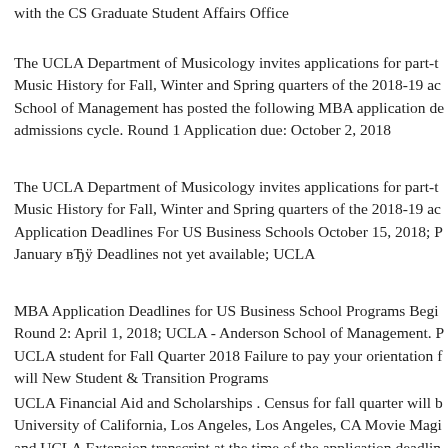with the CS Graduate Student Affairs Office
The UCLA Department of Musicology invites applications for part-t... Music History for Fall, Winter and Spring quarters of the 2018-19 ac... School of Management has posted the following MBA application de... admissions cycle. Round 1 Application due: October 2, 2018
The UCLA Department of Musicology invites applications for part-t... Music History for Fall, Winter and Spring quarters of the 2018-19 ac... Application Deadlines For US Business Schools October 15, 2018; P... January вЂ¦ Deadlines not yet available; UCLA
MBA Application Deadlines for US Business School Programs Begi... Round 2: April 1, 2018; UCLA - Anderson School of Management. P... UCLA student for Fall Quarter 2018 Failure to pay your orientation f... will New Student & Transition Programs
UCLA Financial Aid and Scholarships . Census for fall quarter will b... University of California, Los Angeles, Los Angeles, CA Movie Magi... and UCLA Extension transcript at the time of the application deadlin...